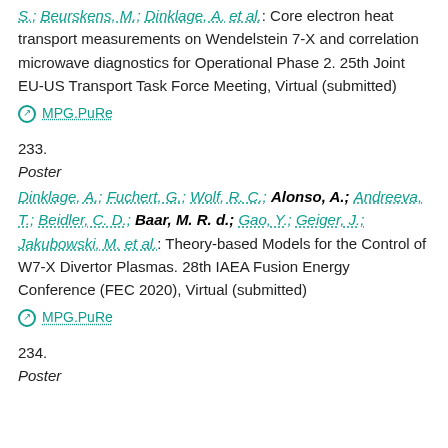S.; Beurskens, M.; Dinklage, A. et al.: Core electron heat transport measurements on Wendelstein 7-X and correlation microwave diagnostics for Operational Phase 2. 25th Joint EU-US Transport Task Force Meeting, Virtual (submitted)
⊙ MPG.PuRe
233.
Poster
Dinklage, A.; Fuchert, G.; Wolf, R. C.; Alonso, A.; Andreeva, T.; Beidler, C. D.; Baar, M. R. d.; Gao, Y.; Geiger, J.; Jakubowski, M. et al.: Theory-based Models for the Control of W7-X Divertor Plasmas. 28th IAEA Fusion Energy Conference (FEC 2020), Virtual (submitted)
⊙ MPG.PuRe
234.
Poster